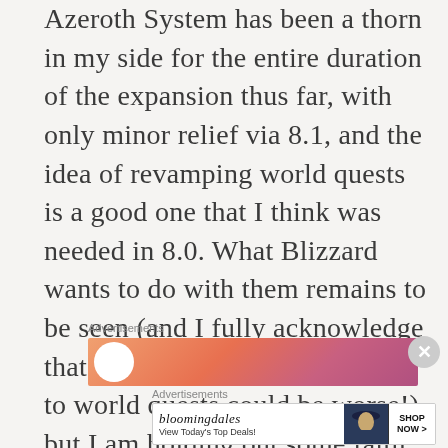Azeroth System has been a thorn in my side for the entire duration of the expansion thus far, with only minor relief via 8.1, and the idea of revamping world quests is a good one that I think was needed in 8.0. What Blizzard wants to do with them remains to be seen (and I fully acknowledge that what they might want to do to world quests could be worse!) but I am holding out some faith to the team that they will do right by us with the changes to come.
Advertisements
[Figure (other): Advertisement banner with gradient orange-pink background and circular logo]
Advertisements
[Figure (other): Bloomingdales advertisement banner with woman in hat, text 'View Today's Top Deals!' and 'SHOP NOW >' button]